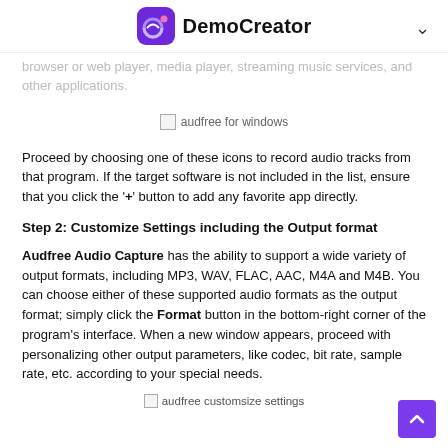DemoCreator
browser or web player, media player, streaming music services, and other applications.
[Figure (screenshot): audfree for windows image placeholder]
Proceed by choosing one of these icons to record audio tracks from that program. If the target software is not included in the list, ensure that you click the '+' button to add any favorite app directly.
Step 2: Customize Settings including the Output format
Audfree Audio Capture has the ability to support a wide variety of output formats, including MP3, WAV, FLAC, AAC, M4A and M4B. You can choose either of these supported audio formats as the output format; simply click the Format button in the bottom-right corner of the program's interface. When a new window appears, proceed with personalizing other output parameters, like codec, bit rate, sample rate, etc. according to your special needs.
audfree customsize settings